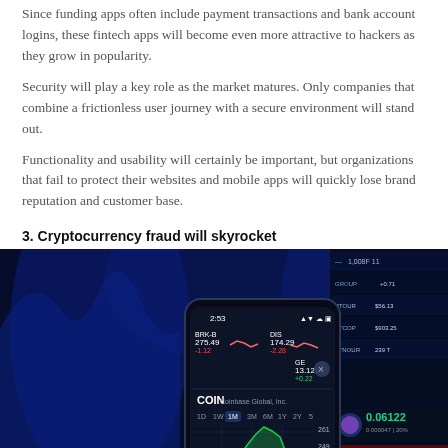Since funding apps often include payment transactions and bank account logins, these fintech apps will become even more attractive to hackers as they grow in popularity.
Security will play a key role as the market matures. Only companies that combine a frictionless user journey with a secure environment will stand out.
Functionality and usability will certainly be important, but organizations that fail to protect their websites and mobile apps will quickly lose brand reputation and customer base.
3. Cryptocurrency fraud will skyrocket
[Figure (photo): A smartphone displaying the Coinbase (COIN) stock trading app with candlestick chart showing price around 261, 249, 238. Behind the phone is a dark blue financial data screen with stock tickers and prices. The screen shows BRK-B 275.49 -1.12, DIS 174.29 -2.28, GE 13.12 +0.22, and a COIN chart on a 1M view.]